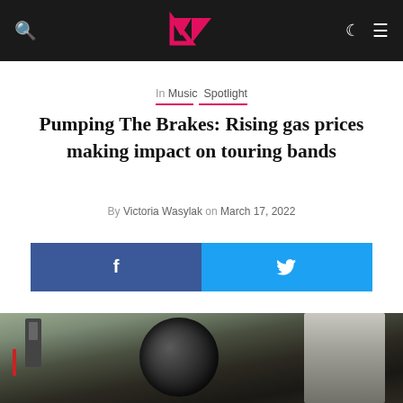Navigation bar with search icon, Vox logo, moon icon, and menu icon
In Music Spotlight
Pumping The Brakes: Rising gas prices making impact on touring bands
By Victoria Wasylak on March 17, 2022
[Figure (other): Social share buttons: Facebook (blue) and Twitter (light blue) side by side]
[Figure (photo): Photo of a gas station pump nozzle being used to fill a vehicle, outdoor daytime setting]